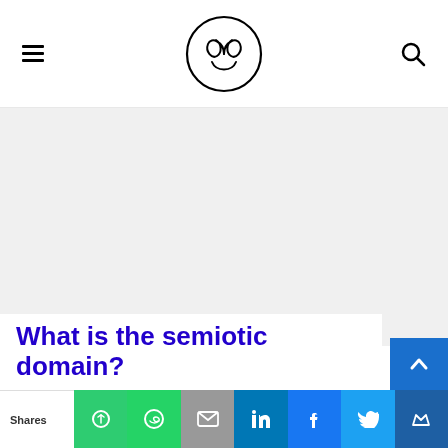[Figure (logo): Website logo: a circular logo with stylized letters inside, resembling an owl face or interlocking curves, with a hamburger menu icon on the left and a search (magnifying glass) icon on the right.]
[Figure (other): Large gray/white blank area below the header, likely an advertisement or image placeholder.]
What is the semiotic domain?
[Figure (infographic): Social sharing bar at the bottom with buttons: Shares label, PushPulse (green), WhatsApp (green), Email (gray), LinkedIn (blue), Facebook (blue), Twitter (light blue), Crown/bookmark (dark blue). A scroll-to-top blue button with an up arrow is on the right side.]